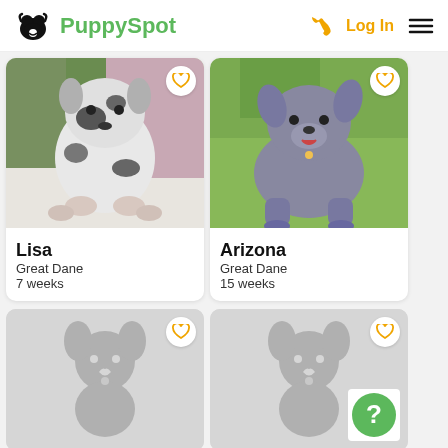PuppySpot — Log In
[Figure (photo): Photo of Lisa, a Great Dane puppy (black and white spotted), 7 weeks old, sitting outdoors near pink flowers]
Lisa
Great Dane
7 weeks
[Figure (photo): Photo of Arizona, a Great Dane puppy (grey/blue), 15 weeks old, sitting on grass]
Arizona
Great Dane
15 weeks
[Figure (illustration): Placeholder card with grey dog silhouette icon and heart button]
[Figure (illustration): Placeholder card with grey dog silhouette icon, heart button, and green question mark badge]